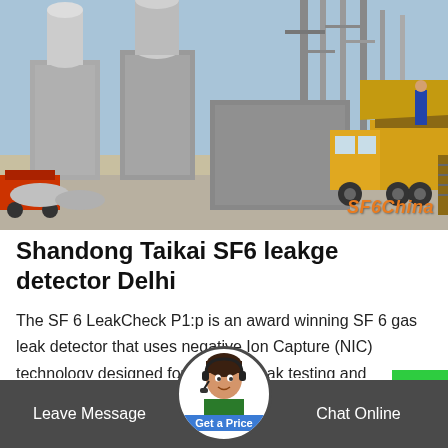[Figure (photo): Yellow utility truck parked at an electrical substation with large transformer equipment. Workers visible on the truck platform. Watermark reads SF6China.]
Shandong Taikai SF6 leakge detector Delhi
The SF 6 LeakCheck P1:p is an award winning SF 6 gas leak detector that uses negative Ion Capture (NIC) technology designed for location, leak testing and measurement of SF 6 leaks in high electrical switchgear.. The SF6 leak detector rapidly detects...
Leave Message    Get a Price    Chat Online